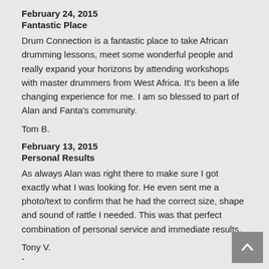February 24, 2015
Fantastic Place
Drum Connection is a fantastic place to take African drumming lessons, meet some wonderful people and really expand your horizons by attending workshops with master drummers from West Africa. It's been a life changing experience for me. I am so blessed to part of Alan and Fanta's community.
Tom B.
February 13, 2015
Personal Results
As always Alan was right there to make sure I got exactly what I was looking for. He even sent me a photo/text to confirm that he had the correct size, shape and sound of rattle I needed. This was that perfect combination of personal service and immediate results.
Tony V.
-
February 5, 2015
Perfect
Hey just wanted to write you a note to tell you how much I absolutely love the